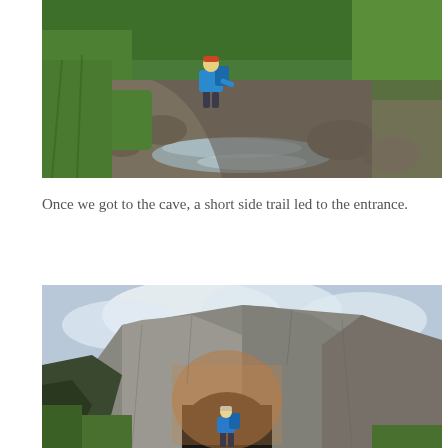[Figure (photo): A hiker wearing a blue backpack and blue jacket navigating a rocky stream trail surrounded by lush green vegetation and grass.]
Once we got to the cave, a short side trail led to the entrance.
[Figure (photo): A person in a blue backpack standing at the entrance of a large cave cut into a massive gray limestone cliff face, with green vegetation on the sides and cloudy sky above.]